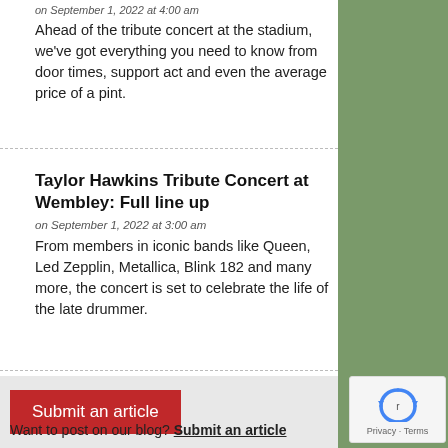on September 1, 2022 at 4:00 am
Ahead of the tribute concert at the stadium, we've got everything you need to know from door times, support act and even the average price of a pint.
Taylor Hawkins Tribute Concert at Wembley: Full line up
on September 1, 2022 at 3:00 am
From members in iconic bands like Queen, Led Zepplin, Metallica, Blink 182 and many more, the concert is set to celebrate the life of the late drummer.
Submit an article
Want to post on our blog? Submit an article